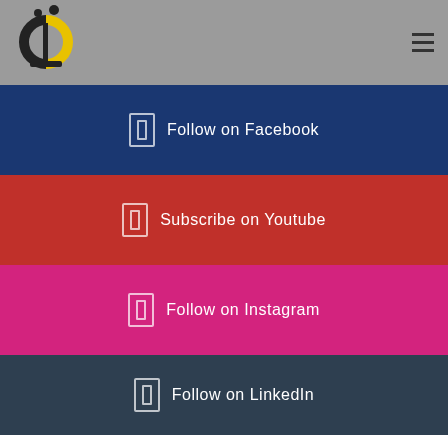[Figure (logo): Circular logo with yellow and dark sections, resembling a stylized letter U with dots above]
Follow on Facebook
Subscribe on Youtube
Follow on Instagram
Follow on LinkedIn